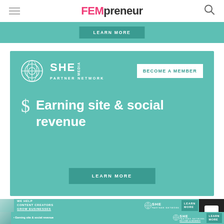FEMpreneur
[Figure (screenshot): Teal banner with LEARN MORE button (partially visible at top)]
[Figure (infographic): SHE Media Partner Network banner with dollar sign icon and text 'Earning site & social revenue' and LEARN MORE button on teal background]
[Figure (screenshot): Bottom ad strip: SHE Media Partner Network - We Help Content Creators Grow Businesses with photos, Learn More button, and chat widget]
[Figure (screenshot): Bottom ad strip: Earning site & social revenue with SHE Media Partner Network branding]